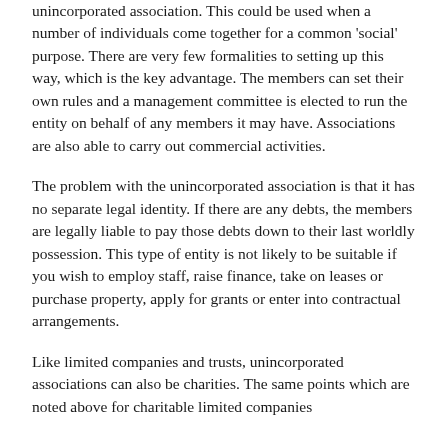unincorporated association. This could be used when a number of individuals come together for a common 'social' purpose. There are very few formalities to setting up this way, which is the key advantage. The members can set their own rules and a management committee is elected to run the entity on behalf of any members it may have. Associations are also able to carry out commercial activities.
The problem with the unincorporated association is that it has no separate legal identity. If there are any debts, the members are legally liable to pay those debts down to their last worldly possession. This type of entity is not likely to be suitable if you wish to employ staff, raise finance, take on leases or purchase property, apply for grants or enter into contractual arrangements.
Like limited companies and trusts, unincorporated associations can also be charities. The same points which are noted above for charitable limited companies